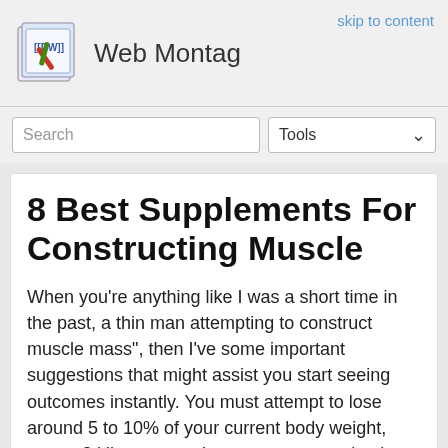Web Montag
skip to content
8 Best Supplements For Constructing Muscle
When you're anything like I was a short time in the past, a thin man attempting to construct muscle mass", then I've some important suggestions that might assist you start seeing outcomes instantly. You must attempt to lose around 5 to 10% of your current body weight, one to 2 kilos per week or attempt to cut back your calorie consumption by 500 - 1,000 energy a day. Nonetheless, folks ought to keep away from skipping meals or severely limiting their calorie intake while trying to drop some weight. On Tuesday, June 4 at 1pm EST, STRIPED